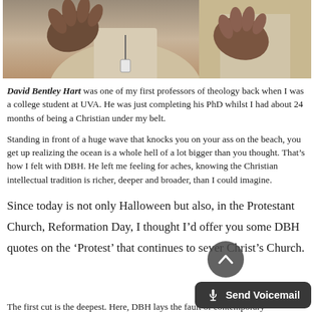[Figure (photo): Partial photograph of a man in a light-colored suit gesturing with his hands, cropped to show torso and hands against a neutral background.]
David Bentley Hart was one of my first professors of theology back when I was a college student at UVA. He was just completing his PhD whilst I had about 24 months of being a Christian under my belt.
Standing in front of a huge wave that knocks you on your ass on the beach, you get up realizing the ocean is a whole hell of a lot bigger than you thought. That's how I felt with DBH. He left me feeling for aches, knowing the Christian intellectual tradition is richer, deeper and broader, than I could imagine.
Since today is not only Halloween but also, in the Protestant Church, Reformation Day, I thought I'd offer you some DBH quotes on the ‘Protest’ that continues to sever Christ’s Church.
The first cut is the deepest. Here, DBH lays the fault of contemporary